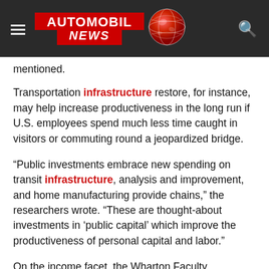AUTOMOBIL NEWS
mentioned.
Transportation infrastructure restore, for instance, may help increase productiveness in the long run if U.S. employees spend much less time caught in visitors or commuting round a jeopardized bridge.
“Public investments embrace new spending on transit infrastructure, analysis and improvement, and home manufacturing provide chains,” the researchers wrote. “These are thought-about investments in ‘public capital’ which improve the productiveness of personal capital and labor.”
On the income facet, the Wharton Faculty discovered that the American Jobs Plan can be funded by a mixture improve to the company tax fee, a minimal tax on company guide